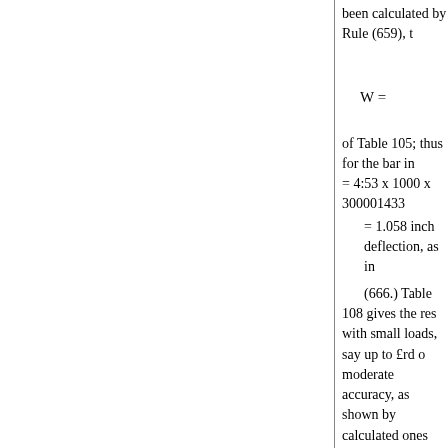been calculated by Rule (659), t
of Table 105; thus for the bar in = 4:53 x 1000 x 300001433
= 1.058 inch deflection, as in
(666.) Table 108 gives the res with small loads, say up to £rd o moderate accuracy, as shown by calculated ones more and more. Rules for Cast iron under heavy by Rule (659), taking the value the bar in Table 108, in which L
13:5; d = 1.522; b = 3:066; ar
= 0.7987, or say 0.8 inch, &c
Table 112 gives in cols. 2, 6 the Mr. Edwin Clark; cols. 3 and 7 p Tredgold's experiments in col. 4 .0002661